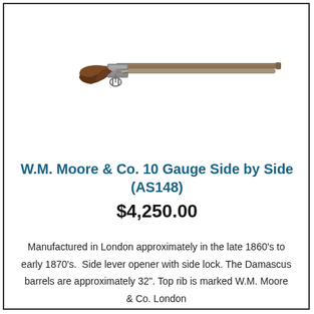[Figure (photo): A side-by-side shotgun with long barrels and a wooden stock, viewed from the side against a white background.]
W.M. Moore & Co. 10 Gauge Side by Side (AS148)
$4,250.00
Manufactured in London approximately in the late 1860's to early 1870's.  Side lever opener with side lock. The Damascus barrels are approximately 32". Top rib is marked W.M. Moore & Co. London